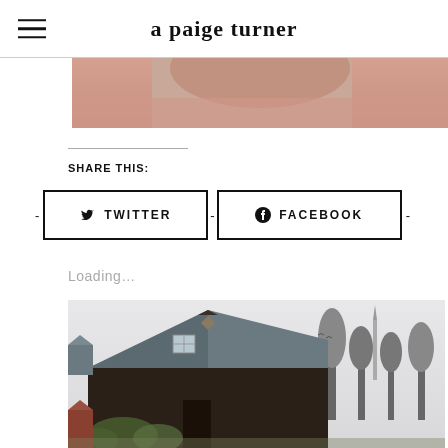a paige turner
[Figure (photo): Partial photo of a person visible at top of page]
SHARE THIS:
[Figure (infographic): Social sharing buttons: TWITTER and FACEBOOK with icons]
Loading...
[Figure (photo): Photo of a dark brown house with a steep triangular roof and blue-grey trim, trees and a church spire visible in the background]